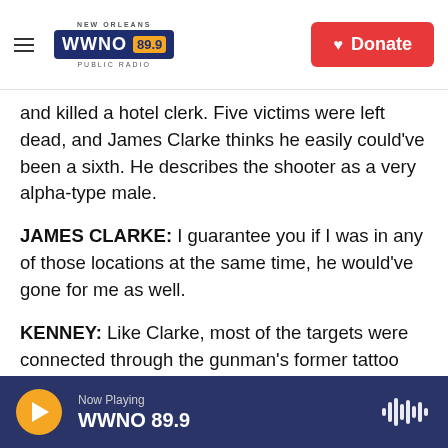NEW ORLEANS WWNO 89.9 PUBLIC RADIO — Donate
and killed a hotel clerk. Five victims were left dead, and James Clarke thinks he easily could've been a sixth. He describes the shooter as a very alpha-type male.
JAMES CLARKE: I guarantee you if I was in any of those locations at the same time, he would've gone for me as well.
KENNEY: Like Clarke, most of the targets were connected through the gunman's former tattoo business. McLeod invested in the Denver shop eight years ago that eventually failed, and
Now Playing WWNO 89.9